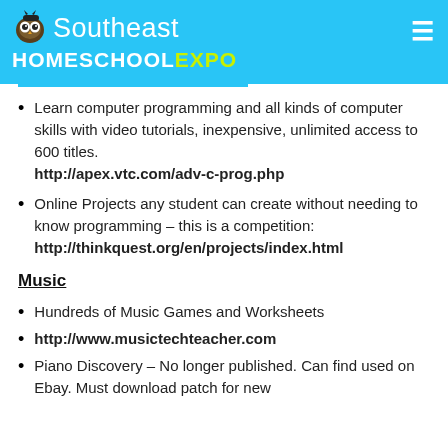Southeast HOMESCHOOLEXPO
Learn computer programming and all kinds of computer skills with video tutorials, inexpensive, unlimited access to 600 titles. http://apex.vtc.com/adv-c-prog.php
Online Projects any student can create without needing to know programming – this is a competition: http://thinkquest.org/en/projects/index.html
Music
Hundreds of Music Games and Worksheets
http://www.musictechteacher.com
Piano Discovery – No longer published.  Can find used on Ebay.  Must download patch for new